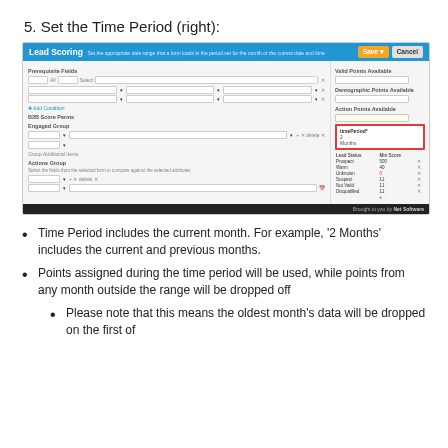5. Set the Time Period (right):
[Figure (screenshot): Screenshot of Lead Scoring application UI showing configuration panel with highlighted Time Period section on the right side, showing 'timePerdiod' field set to 2 months, with lead status scores table below.]
Time Period includes the current month. For example, '2 Months' includes the current and previous months.
Points assigned during the time period will be used, while points from any month outside the range will be dropped off
Please note that this means the oldest month's data will be dropped on the first of